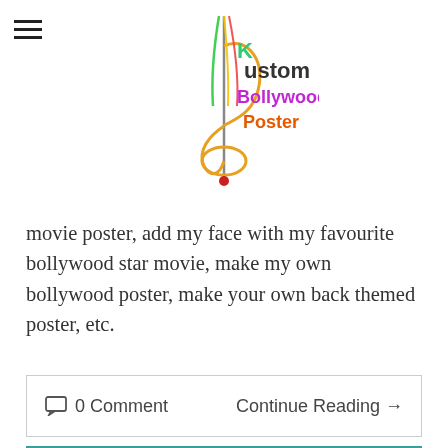[Figure (logo): Kustom Bollywood Poster logo with treble clef and colorful text]
movie poster, add my face with my favourite bollywood star movie, make my own bollywood poster, make your own back themed poster, etc.
0 Comment    Continue Reading →
[Figure (photo): Custom Bollywood poster painting starring Camille & Jad, showing a couple in front of a teal background with deity figures]